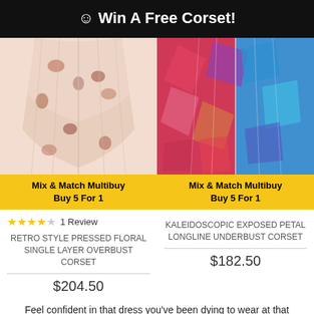☺ Win A Free Corset!
[Figure (photo): Retro style pressed floral single layer overbust corset in pink and brown floral pattern]
Mix & Match Multibuy
Buy 5 For 1
[Figure (photo): Kaleidoscopic exposed petal longline underbust corset in multicolor red, blue, purple pattern]
Mix & Match Multibuy
Buy 5 For 1
★★★★☆ 1 Review
RETRO STYLE PRESSED FLORAL SINGLE LAYER OVERBUST CORSET
KALEIDOSCOPIC EXPOSED PETAL LONGLINE UNDERBUST CORSET
$204.50
$182.50
Feel confident in that dress you've been dying to wear at that important special occasion, with our collection of premium shapewear corsets. Designed to hug you in, smooth your tummy and cinch your